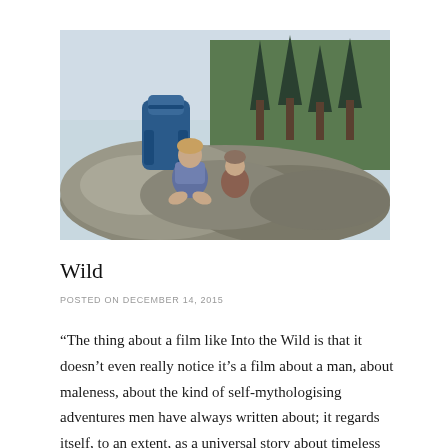[Figure (photo): A person sitting on rocky terrain with a large blue hiking backpack, surrounded by pine trees and a bright sky. Outdoor wilderness hiking scene.]
Wild
POSTED ON DECEMBER 14, 2015
“The thing about a film like Into the Wild is that it doesn’t even really notice it’s a film about a man, about maleness, about the kind of self-mythologising adventures men have always written about; it regards itself, to an extent, as a universal story about timeless struggles between Man and Nature and Society. A film